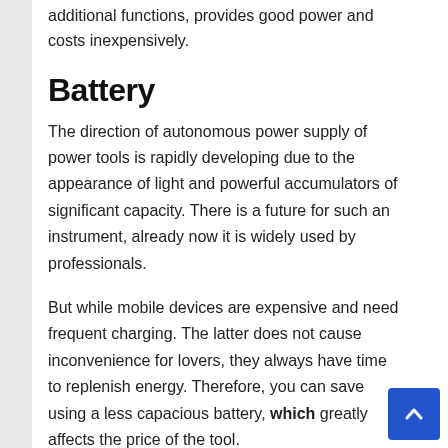additional functions, provides good power and costs inexpensively.
Battery
The direction of autonomous power supply of power tools is rapidly developing due to the appearance of light and powerful accumulators of significant capacity. There is a future for such an instrument, already now it is widely used by professionals.
But while mobile devices are expensive and need frequent charging. The latter does not cause inconvenience for lovers, they always have time to replenish energy. Therefore, you can save using a less capacious battery, which greatly affects the price of the tool.